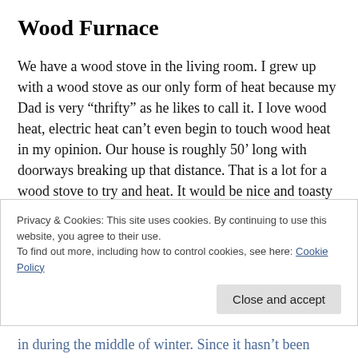Wood Furnace
We have a wood stove in the living room. I grew up with a wood stove as our only form of heat because my Dad is very “thrifty” as he likes to call it. I love wood heat, electric heat can’t even begin to touch wood heat in my opinion. Our house is roughly 50’ long with doorways breaking up that distance. That is a lot for a wood stove to try and heat. It would be nice and toasty in the living room but it would be freezing on the other side of the house, something I am not a fan of! The previous owners had a wood
Privacy & Cookies: This site uses cookies. By continuing to use this website, you agree to their use.
To find out more, including how to control cookies, see here: Cookie Policy
in during the middle of winter. Since it hasn’t been